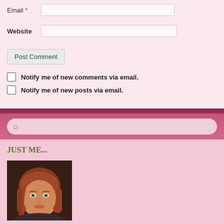Email *
Website
Post Comment
Notify me of new comments via email.
Notify me of new posts via email.
JUST ME...
[Figure (photo): Portrait photo of a woman with long reddish-brown hair, looking at the camera with a slight smile. Dark background.]